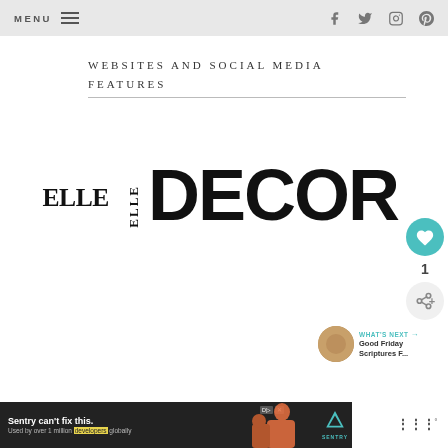MENU  [hamburger icon]  [facebook] [twitter] [instagram] [pinterest]
WEBSITES AND SOCIAL MEDIA FEATURES
[Figure (logo): ELLE DECOR magazine logo in large bold serif/sans type]
[Figure (infographic): Heart (like) button teal circle with count 1, and share button]
WHAT'S NEXT → Good Friday Scriptures F...
[Figure (screenshot): Sentry advertisement banner: 'Sentry can't fix this. Used by over 1 million developers globally']